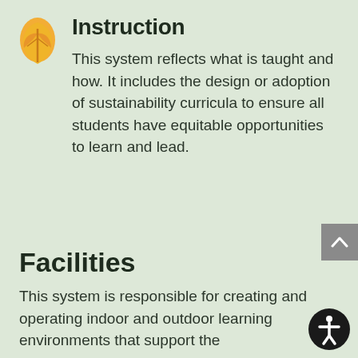[Figure (illustration): Yellow leaf/plant icon representing the Instruction system]
Instruction
This system reflects what is taught and how. It includes the design or adoption of sustainability curricula to ensure all students have equitable opportunities to learn and lead.
Facilities
This system is responsible for creating and operating indoor and outdoor learning environments that support the